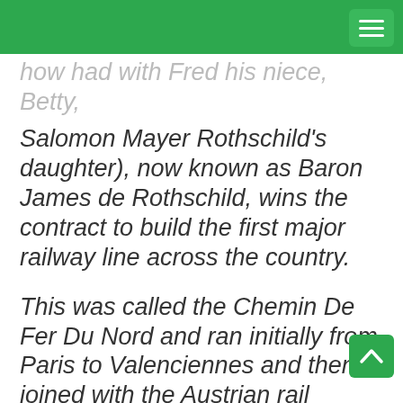how had with Fred his niece, Betty, Salomon Mayer Rothschild's daughter), now known as Baron James de Rothschild, wins the contract to build the first major railway line across the country.
This was called the Chemin De Fer Du Nord and ran initially from Paris to Valenciennes and then joined with the Austrian rail network built by his brother (and wife's father – all sounds a bit odd, doesn't it) Salomon Mayer...